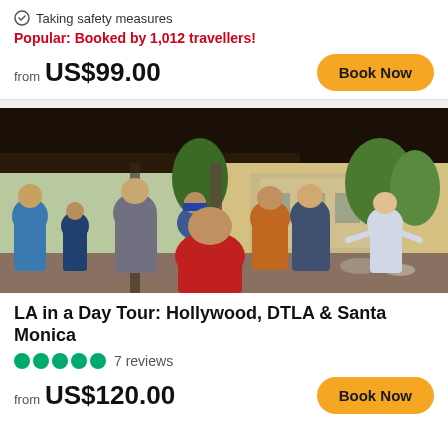Taking safety measures
Popular: Booked by 1,012 travellers!
from US$99.00
Book Now
[Figure (photo): Group of tourists gathered under a shaded outdoor area, with a tour guide speaking to them. Green trees and a building visible in the background.]
LA in a Day Tour: Hollywood, DTLA & Santa Monica
7 reviews
from US$120.00
Book Now